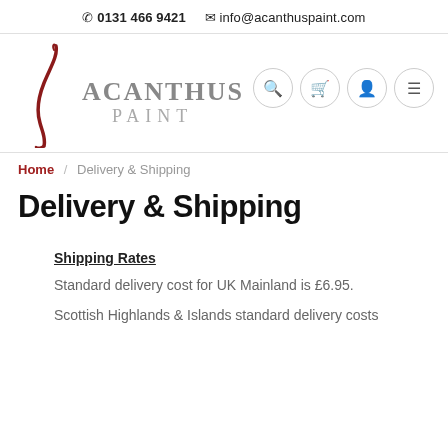☎ 0131 466 9421   ✉ info@acanthuspaint.com
[Figure (logo): Acanthus Paint logo with red cursive brushstroke and grey serif text reading ACANTHUS PAINT]
Home / Delivery & Shipping
Delivery & Shipping
Shipping Rates
Standard delivery cost for UK Mainland is £6.95.
Scottish Highlands & Islands standard delivery costs